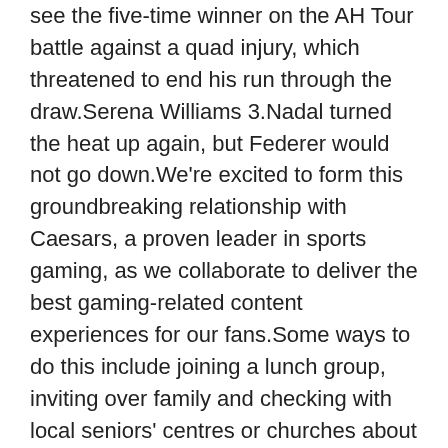see the five-time winner on the AH Tour battle against a quad injury, which threatened to end his run through the draw.Serena Williams 3.Nadal turned the heat up again, but Federer would not go down.We're excited to form this groundbreaking relationship with Caesars, a proven leader in sports gaming, as we collaborate to deliver the best gaming-related content experiences for our fans.Some ways to do this include joining a lunch group, inviting over family and checking with local seniors' centres or churches about community dinners.
The signal-caller was originally injured in a loss to SMU last month and hasn't played since with what was described as a high ankle sprain.He took three shots and had Limited Mens Benson Mayowa Jersey a plus-minus of +1 for the game.Each will offer SLP engine upgrades of the LT1 V-8 likely mirroring the stages of Roots-supercharged tune available on the old LS3 .1: The Reds have formally announced that Galvis' option